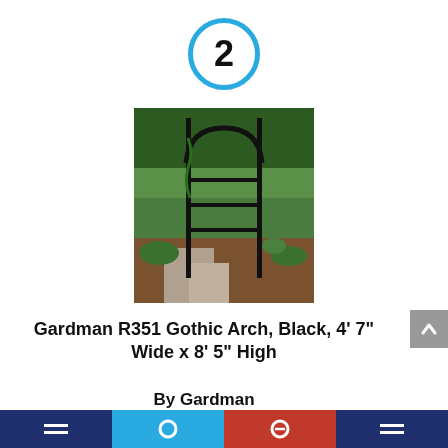2
[Figure (photo): Photo of a black metal gothic garden arch installed in a garden with green plants and a stone path beneath it.]
Gardman R351 Gothic Arch, Black, 4' 7" Wide x 8' 5" High
By Gardman